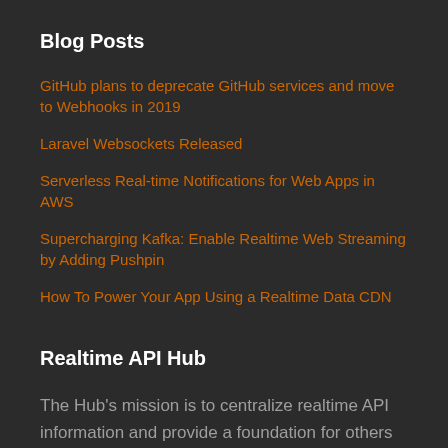Blog Posts
GitHub plans to deprecate GitHub services and move to Webhooks in 2019
Laravel Websockets Released
Serverless Real-time Notifications for Web Apps in AWS
Supercharging Kafka: Enable Realtime Web Streaming by Adding Pushpin
How To Power Your App Using a Realtime Data CDN
Realtime API Hub
The Hub's mission is to centralize realtime API information and provide a foundation for others to build their own APIs. This is proudly maintained by the